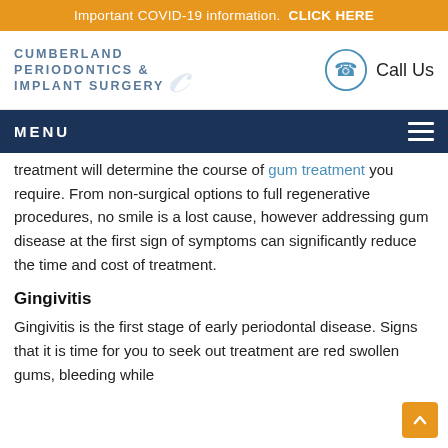Important COVID-19 information.  CLICK HERE
[Figure (logo): Cumberland Periodontics & Implant Surgery logo with stylized letter and Call Us phone button]
MENU
treatment will determine the course of gum treatment you require. From non-surgical options to full regenerative procedures, no smile is a lost cause, however addressing gum disease at the first sign of symptoms can significantly reduce the time and cost of treatment.
Gingivitis
Gingivitis is the first stage of early periodontal disease. Signs that it is time for you to seek out treatment are red swollen gums, bleeding while